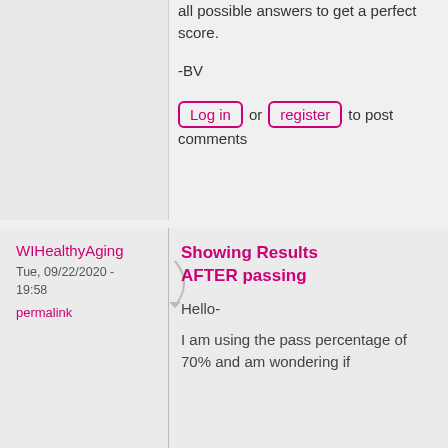all possible answers to get a perfect score.
-BV
Log in or register to post comments
WIHealthyAging
Tue, 09/22/2020 - 19:58
permalink
Showing Results AFTER passing
Hello-
I am using the pass percentage of 70% and am wondering if